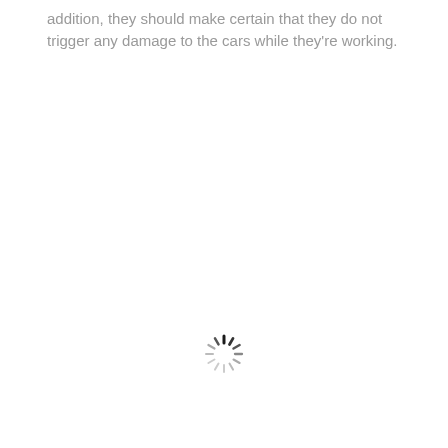addition, they should make certain that they do not trigger any damage to the cars while they're working.
[Figure (other): A loading spinner icon (circular arrangement of short lines radiating from center, partially dark at top)]